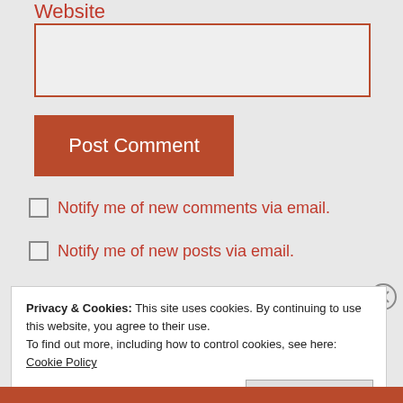Website
[Figure (screenshot): Text input field with red/orange border for Website URL entry]
Post Comment
Notify me of new comments via email.
Notify me of new posts via email.
Privacy & Cookies: This site uses cookies. By continuing to use this website, you agree to their use.
To find out more, including how to control cookies, see here:
Cookie Policy
Close and accept